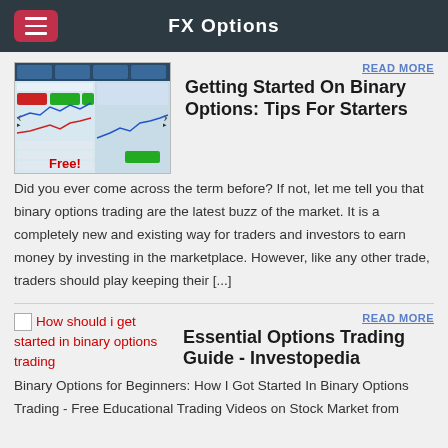FX Options
[Figure (screenshot): Trading platform screenshot with chart and Free! badge]
READ MORE
Getting Started On Binary Options: Tips For Starters
Did you ever come across the term before? If not, let me tell you that binary options trading are the latest buzz of the market. It is a completely new and existing way for traders and investors to earn money by investing in the marketplace. However, like any other trade, traders should play keeping their [...]
[Figure (other): Broken image placeholder for How should i get started in binary options trading]
READ MORE
Essential Options Trading Guide - Investopedia
Binary Options for Beginners: How I Got Started In Binary Options Trading - Free Educational Trading Videos on Stock Market from